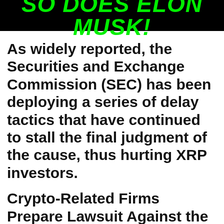SO DOES ELON MUSK!
As widely reported, the Securities and Exchange Commission (SEC) has been deploying a series of delay tactics that have continued to stall the final judgment of the cause, thus hurting XRP investors.
Crypto-Related Firms Prepare Lawsuit Against the SEC